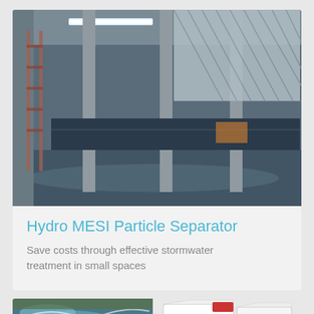[Figure (photo): Interior industrial space showing a large particle separator installation with vertical support columns, metal grating/mesh panels with diagonal pattern on the right, water on the floor, and a ladder on the left side. The space appears to be a stormwater treatment facility.]
Hydro MESI Particle Separator
Save costs through effective stormwater treatment in small spaces
[Figure (photo): Composite image showing a natural stream/river on the left and white rectangular tank/box components on the right, representing a stormwater treatment product.]